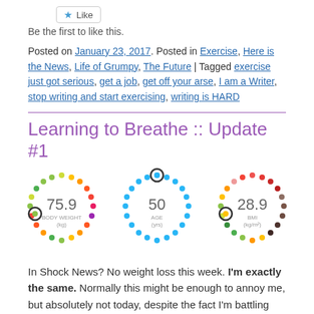[Figure (other): Like button UI element]
Be the first to like this.
Posted on January 23, 2017. Posted in Exercise, Here is the News, Life of Grumpy, The Future | Tagged exercise just got serious, get a job, get off your arse, I am a Writer, stop writing and start exercising, writing is HARD
Learning to Breathe :: Update #1
[Figure (infographic): Three circular dot-ring infographic metrics: 75.9 BODY WEIGHT (kg), 50 AGE (yrs), 28.9 BMI (kg/m2)]
In Shock News? No weight loss this week. I'm exactly the same. Normally this might be enough to annoy me, but absolutely not today, despite the fact I'm battling demons.